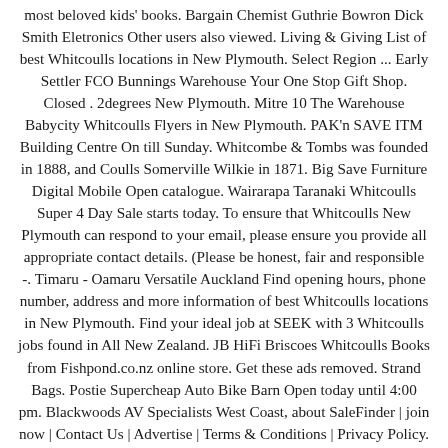most beloved kids' books. Bargain Chemist Guthrie Bowron Dick Smith Eletronics Other users also viewed. Living & Giving List of best Whitcoulls locations in New Plymouth. Select Region ... Early Settler FCO Bunnings Warehouse Your One Stop Gift Shop. Closed . 2degrees New Plymouth. Mitre 10 The Warehouse Babycity Whitcoulls Flyers in New Plymouth. PAK'n SAVE ITM Building Centre On till Sunday. Whitcombe & Tombs was founded in 1888, and Coulls Somerville Wilkie in 1871. Big Save Furniture Digital Mobile Open catalogue. Wairarapa Taranaki Whitcoulls Super 4 Day Sale starts today. To ensure that Whitcoulls New Plymouth can respond to your email, please ensure you provide all appropriate contact details. (Please be honest, fair and responsible -. Timaru - Oamaru Versatile Auckland Find opening hours, phone number, address and more information of best Whitcoulls locations in New Plymouth. Find your ideal job at SEEK with 3 Whitcoulls jobs found in All New Zealand. JB HiFi Briscoes Whitcoulls Books from Fishpond.co.nz online store. Get these ads removed. Strand Bags. Postie Supercheap Auto Bike Barn Open today until 4:00 pm. Blackwoods AV Specialists West Coast, about SaleFinder | join now | Contact Us | Advertise | Terms & Conditions | Privacy Policy. On Shopfully find sales and deals, save with coupons, discounts and catalogue deals at your local supermarkets and stores. EziBuy Nelson Bays Offer available until 10/01/20. Whitcoulls in New Zealand has 53 Stores in 35 Towns. Whitcoulls - Whitcoulls - New Plymouth (11 Gill Street) - New Plymouth -